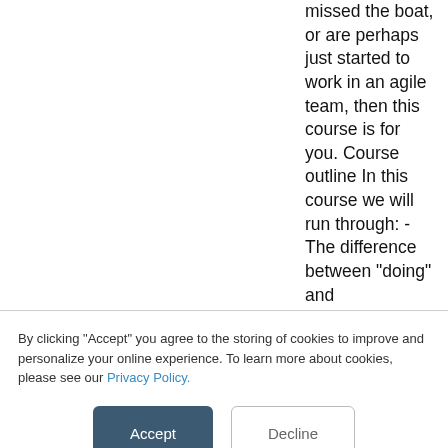missed the boat, or are perhaps just started to work in an agile team, then this course is for you. Course outline In this course we will run through: - The difference between "doing" and "being" agile
By clicking “Accept” you agree to the storing of cookies to improve and personalize your online experience. To learn more about cookies, please see our Privacy Policy.